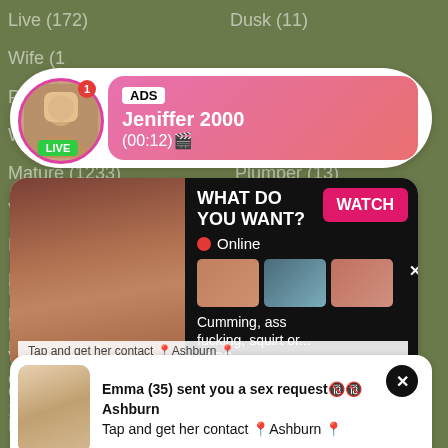Live (172)
Dusk (11)
Wife (1...)
Pussy
Wet (1...)
Mature (1233)
Plumper (13)
Vagin...
Nipple
Panty
Ro...
Pe...
O...
18...
Public (289)
Ladyboy (32)
Ki...
Vi...
O...
Pretty (88)
Webcam (392)
[Figure (screenshot): Ad notification card with avatar photo, ADS label, name Jeniffer 2000, time (00:12), LIVE badge]
[Figure (screenshot): Content card showing photo on left, WHAT DO YOU WANT? text, WATCH button, Online indicator, thumbnail images, text 'Cumming, ass fucking, squirt or...' and ADS label]
Tap and get her contact 📍Ashburn 📍
[Figure (screenshot): Bottom notification card with blonde woman photo, text 'Emma (35) sent you a sex request🔞🔞 Ashburn Tap and get her contact 📍Ashburn 📍', close X button]